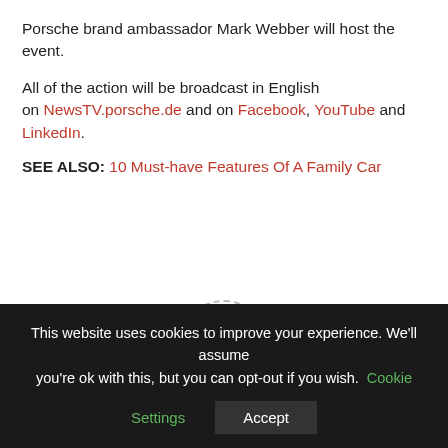Porsche brand ambassador Mark Webber will host the event.
All of the action will be broadcast in English on NewsTV.porsche.de and on Facebook, YouTube and LinkedIn.
SEE ALSO: 10 Must-have Features Of A Family Car
[Figure (other): Article rating widget showing a dashed circle with 0 in the center, dashes on each side, 'Article Rating' label below, and 5 empty grey stars underneath]
This website uses cookies to improve your experience. We'll assume you're ok with this, but you can opt-out if you wish. Cookie Settings Accept